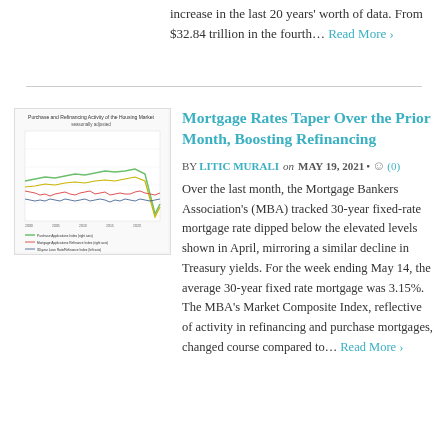increase in the last 20 years' worth of data. From $32.84 trillion in the fourth… Read More ›
Mortgage Rates Taper Over the Prior Month, Boosting Refinancing
BY LITIC MURALI on MAY 19, 2021 • (0)
[Figure (line-chart): Purchase and Refinancing Activity of the Housing Market, seasonally adjusted. Multi-line chart showing mortgage market trends over time.]
Over the last month, the Mortgage Bankers Association's (MBA) tracked 30-year fixed-rate mortgage rate dipped below the elevated levels shown in April, mirroring a similar decline in Treasury yields. For the week ending May 14, the average 30-year fixed rate mortgage was 3.15%. The MBA's Market Composite Index, reflective of activity in refinancing and purchase mortgages, changed course compared to… Read More ›